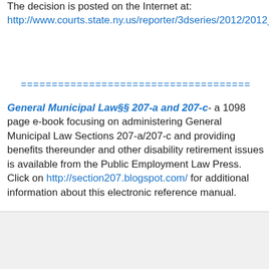The decision is posted on the Internet at: http://www.courts.state.ny.us/reporter/3dseries/2012/2012_08621.htm
=====================================
General Municipal Law§§ 207-a and 207-c- a 1098 page e-book focusing on administering General Municipal Law Sections 207-a/207-c and providing benefits thereunder and other disability retirement issues is available from the Public Employment Law Press. Click on http://section207.blogspot.com/ for additional information about this electronic reference manual.
=====================================